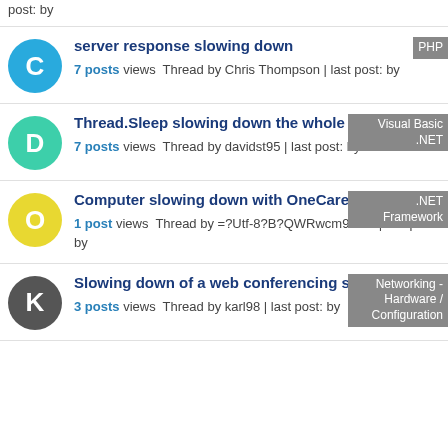post: by
server response slowing down — 7 posts views Thread by Chris Thompson | last post: by — PHP
Thread.Sleep slowing down the whole application — 7 posts views Thread by davidst95 | last post: by — Visual Basic .NET
Computer slowing down with OneCare — 1 post views Thread by =?Utf-8?B?QWRwcm9m?= | last post: by — .NET Framework
Slowing down of a web conferencing session — 3 posts views Thread by karl98 | last post: by — Networking - Hardware / Configuration